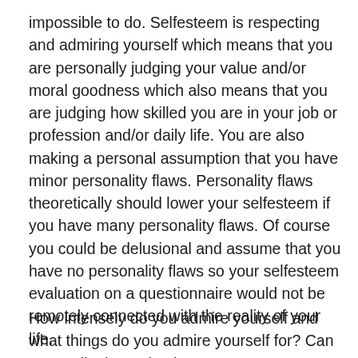impossible to do. Selfesteem is respecting and admiring yourself which means that you are personally judging your value and/or moral goodness which also means that you are judging how skilled you are in your job or profession and/or daily life. You are also making a personal assumption that you have minor personality flaws. Personality flaws theoretically should lower your selfesteem if you have many personality flaws. Of course you could be delusional and assume that you have no personality flaws so your selfesteem evaluation on a questionnaire would not be remotely connected with the reality of your life.
How intensely do you admire yourself and what things do you admire yourself for? Can you really determine how